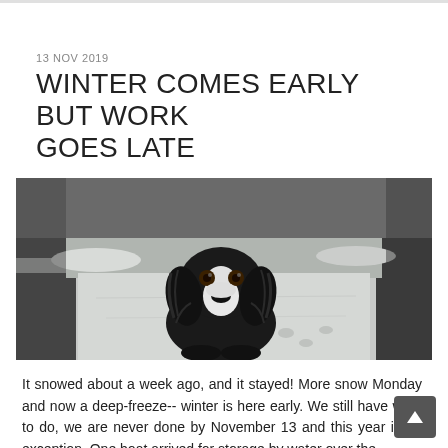13 NOV 2019
WINTER COMES EARLY BUT WORK GOES LATE
[Figure (photo): A black and white spaniel dog sitting on snow-covered ground, looking up at the camera. The background shows snow and dark pavement.]
It snowed about a week ago, and it stayed! More snow Monday and now a deep-freeze-- winter is here early. We still have work to do, we are never done by November 13 and this year is no exception. One boat arrived for storage by water over the